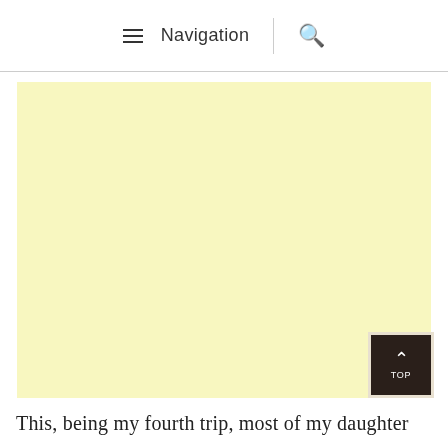Navigation
[Figure (other): Large light yellow/cream colored rectangular image placeholder]
[Figure (other): Dark brown TOP button with upward chevron arrow]
This, being my fourth trip, most of my daughter